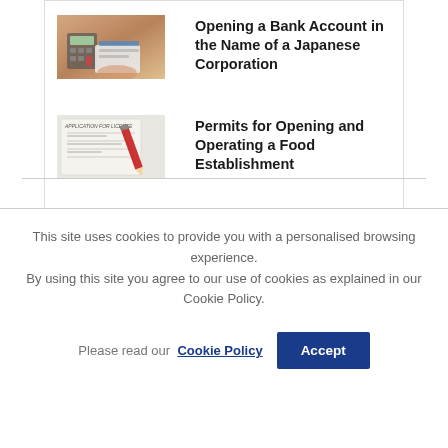[Figure (photo): Photo thumbnail showing hands with a calculator and financial documents, representing bank account opening]
Opening a Bank Account in the Name of a Japanese Corporation
[Figure (photo): Photo thumbnail showing an application for license form with a red pencil, representing food establishment permits]
Permits for Opening and Operating a Food Establishment
This site uses cookies to provide you with a personalised browsing experience. By using this site you agree to our use of cookies as explained in our Cookie Policy.
Please read our Cookie Policy